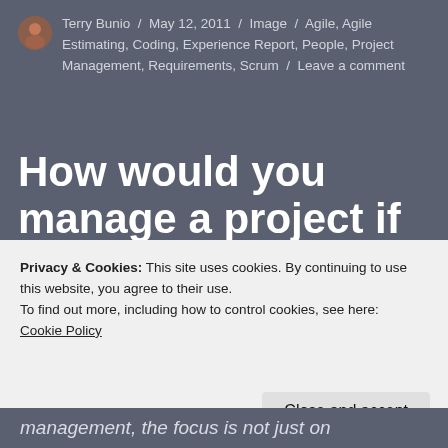Terry Bunio / May 12, 2011 / Image / Agile, Agile Estimating, Coding, Experience Report, People, Project Management, Requirements, Scrum / Leave a comment
How would you manage a project if it was your money? Agile of course!
This fantastic question was posed to me by a co-worker today. (Thanks Steve!) 🙁 It spurred
Privacy & Cookies: This site uses cookies. By continuing to use this website, you agree to their use.
To find out more, including how to control cookies, see here:
Cookie Policy
management, the focus is not just on